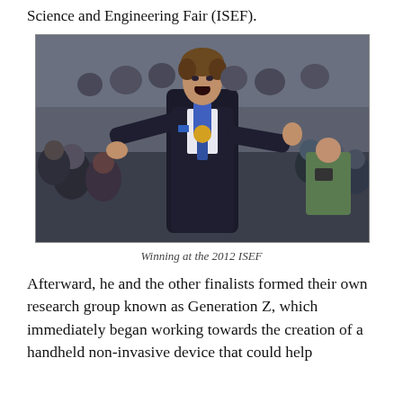Science and Engineering Fair (ISEF).
[Figure (photo): A young man in a dark suit with a blue tie and medal around his neck, arms outstretched in celebration, mouth open in excitement. He is standing in front of a large crowd of seated students and observers at the 2012 ISEF event.]
Winning at the 2012 ISEF
Afterward, he and the other finalists formed their own research group known as Generation Z, which immediately began working towards the creation of a handheld non-invasive device that could help